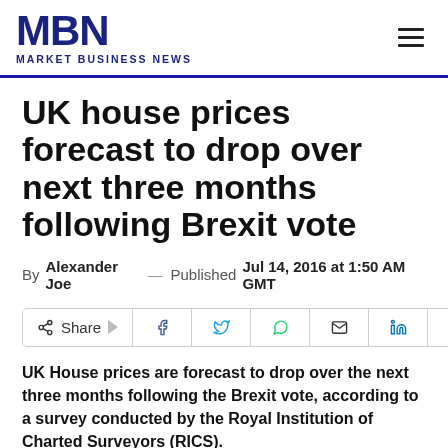MBN MARKET BUSINESS NEWS
UK house prices forecast to drop over next three months following Brexit vote
By Alexander Joe — Published Jul 14, 2016 at 1:50 AM GMT
[Figure (other): Social media share bar with Share, Facebook, Twitter, WhatsApp, Email, LinkedIn, and Print buttons]
UK House prices are forecast to drop over the next three months following the Brexit vote, according to a survey conducted by the Royal Institution of Charted Surveyors (RICS).